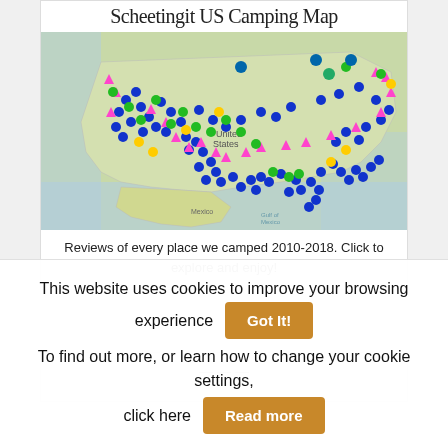Scheetingit US Camping Map
[Figure (map): Interactive US camping map with colored pins (blue, pink, green, yellow) marking campsite locations across the United States, 2010-2018.]
Reviews of every place we camped 2010-2018. Click to explore and enjoy!
This website uses cookies to improve your browsing experience   Got It!
To find out more, or learn how to change your cookie settings, click here   Read more